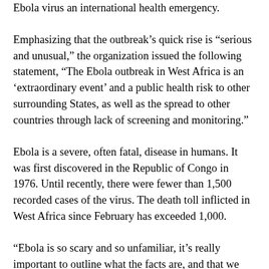Ebola virus an international health emergency.
Emphasizing that the outbreak's quick rise is “serious and unusual,” the organization issued the following statement, “The Ebola outbreak in West Africa is an ‘extraordinary event’ and a public health risk to other surrounding States, as well as the spread to other countries through lack of screening and monitoring.”
Ebola is a severe, often fatal, disease in humans. It was first discovered in the Republic of Congo in 1976. Until recently, there were fewer than 1,500 recorded cases of the virus. The death toll inflicted in West Africa since February has exceeded 1,000.
“Ebola is so scary and so unfamiliar, it's really important to outline what the facts are, and that we know how to control it. We control it by traditional public health measures,” said Centers for Disease Control and Prevention Director Tom Frieden.
What are traditional public health measures? Isolation and